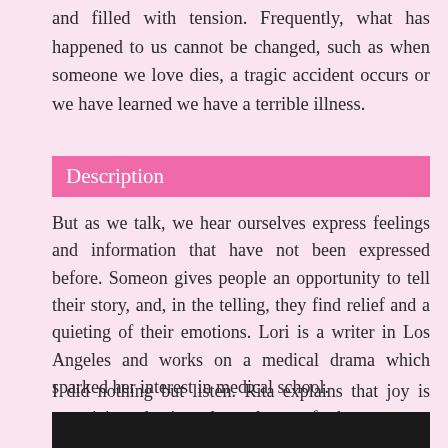and filled with tension. Frequently, what has happened to us cannot be changed, such as when someone we love dies, a tragic accident occurs or we have learned we have a terrible illness.
Description
But as we talk, we hear ourselves express feelings and information that have not been expressed before. Someon gives people an opportunity to tell their story, and, in the telling, they find relief and a quieting of their emotions. Lori is a writer in Los Angeles and works on a medical drama which sparked her interest in medical school.
I did nothing but listen. Rita explains that joy is unanticipated pain and not pleasure for her.
[Figure (photo): Dark photographic strip at bottom of page]